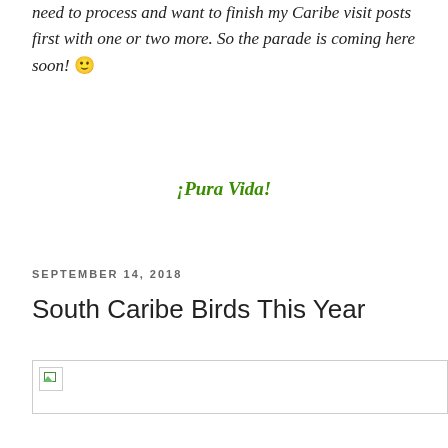need to process and want to finish my Caribe visit posts first with one or two more. So the parade is coming here soon! 🙂
¡Pura Vida!
SEPTEMBER 14, 2018
South Caribe Birds This Year
[Figure (photo): Broken image placeholder for a photo associated with the blog post 'South Caribe Birds This Year']